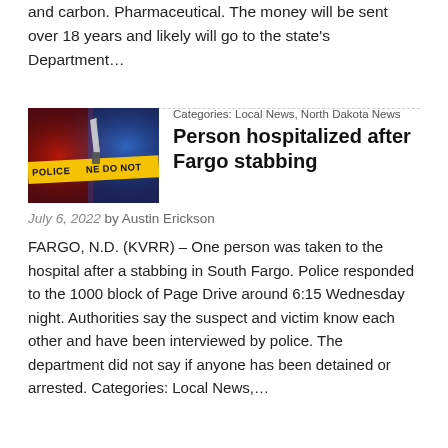and carbon. Pharmaceutical. The money will be sent over 18 years and likely will go to the state's Department…
Categories: Local News, North Dakota News
Person hospitalized after Fargo stabbing
[Figure (photo): Police tape reading 'POLICE DO NOT' with red and blue emergency lights in the background]
July 6, 2022 by Austin Erickson
FARGO, N.D. (KVRR) – One person was taken to the hospital after a stabbing in South Fargo. Police responded to the 1000 block of Page Drive around 6:15 Wednesday night. Authorities say the suspect and victim know each other and have been interviewed by police. The department did not say if anyone has been detained or arrested. Categories: Local News,…